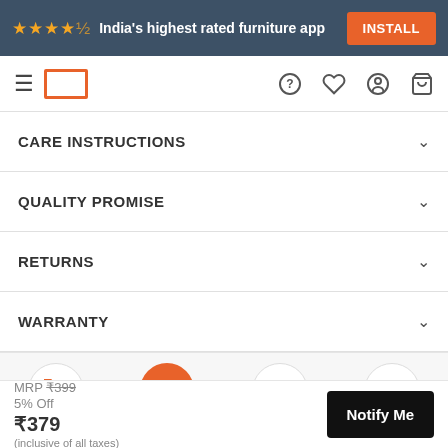India's highest rated furniture app  INSTALL
Navigation bar with menu, logo, and icons
CARE INSTRUCTIONS
QUALITY PROMISE
RETURNS
WARRANTY
Call Us  Facebook  Whatsapp  Mail
MRP ₹399  5% Off  ₹379  (inclusive of all taxes)